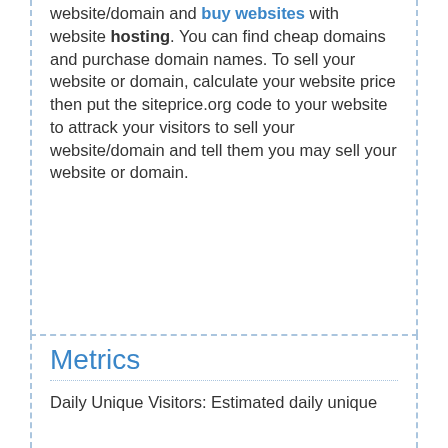website/domain and buy websites with website hosting. You can find cheap domains and purchase domain names. To sell your website or domain, calculate your website price then put the siteprice.org code to your website to attrack your visitors to sell your website/domain and tell them you may sell your website or domain.
If you want to sell websites you own or buy an already existing website, siteprice.org is one of the easiest place that you can find. We want to bring sellers and buyers together and contact with them easily and establish a trade environment.
Metrics
Daily Unique Visitors: Estimated daily unique